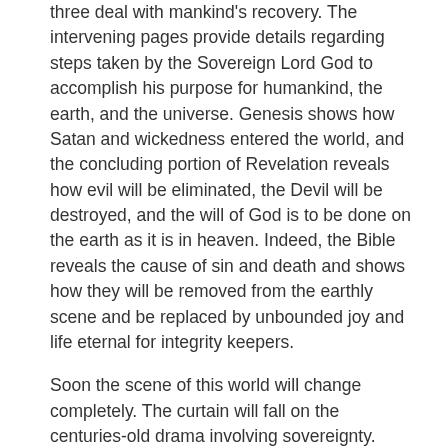three deal with mankind's recovery. The intervening pages provide details regarding steps taken by the Sovereign Lord God to accomplish his purpose for humankind, the earth, and the universe. Genesis shows how Satan and wickedness entered the world, and the concluding portion of Revelation reveals how evil will be eliminated, the Devil will be destroyed, and the will of God is to be done on the earth as it is in heaven. Indeed, the Bible reveals the cause of sin and death and shows how they will be removed from the earthly scene and be replaced by unbounded joy and life eternal for integrity keepers.
Soon the scene of this world will change completely. The curtain will fall on the centuries-old drama involving sovereignty. Satan will be removed from the stage, headed for eventual oblivion, and God's will shall certainly prevail. But to benefit from this and enjoy the many blessings foretold in God's Word, we must uphold God's sovereignty now. We cannot straddle the fence. To be able to say: “God is on my side,” we must remain on his side.—Ps. 118:6, 7.
We Can Maintain Integrity!
Be determined to uphold God's sovereignty